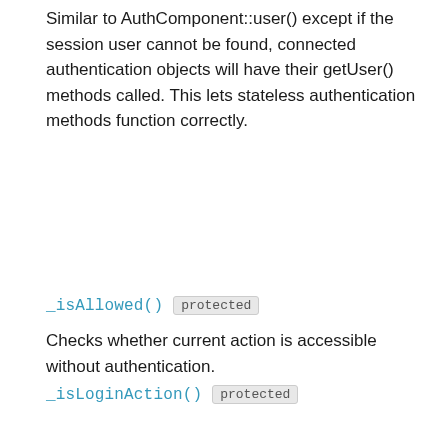Similar to AuthComponent::user() except if the session user cannot be found, connected authentication objects will have their getUser() methods called. This lets stateless authentication methods function correctly.
_isAllowed()  protected
Checks whether current action is accessible without authentication.
_isLoginAction()  protected
Normalizes $loginAction and checks if current request URL is same as login action.
_setDefaults()  protected
Attempts to introspect the correct values for object properties.
_unauthenticated()  protected